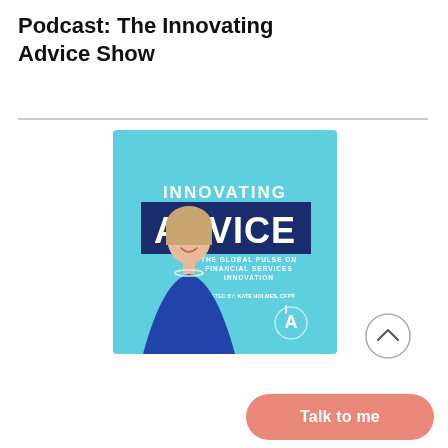Podcast: The Innovating Advice Show
[Figure (illustration): Podcast cover art for 'Innovating Advice' show — light blue background with a woman in a blue dress smiling, text reading INNOVATING ADVICE, THE GLOBAL PULSE ON FINANCIAL SERVICES INNOVATION, HOSTED BY: KATE HOLMES, CFP®, and a logo mark in the bottom right.]